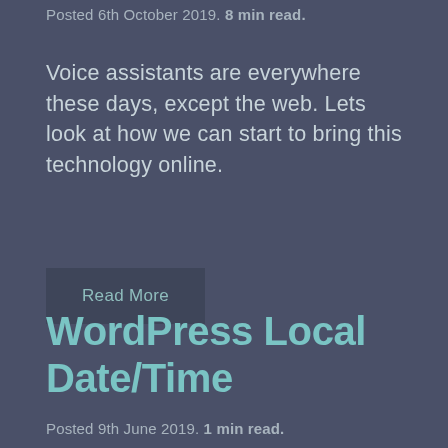Posted 6th October 2019. 8 min read.
Voice assistants are everywhere these days, except the web. Lets look at how we can start to bring this technology online.
Read More
WordPress Local Date/Time
Posted 9th June 2019. 1 min read.